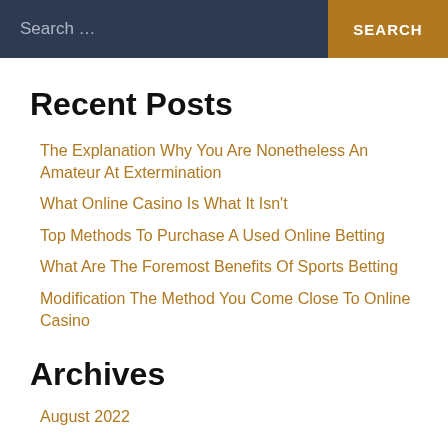Search ... SEARCH
Recent Posts
The Explanation Why You Are Nonetheless An Amateur At Extermination
What Online Casino Is What It Isn't
Top Methods To Purchase A Used Online Betting
What Are The Foremost Benefits Of Sports Betting
Modification The Method You Come Close To Online Casino
Archives
August 2022